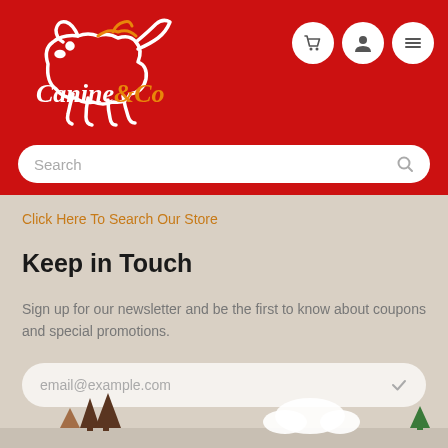[Figure (logo): Canine & Co logo — white dog outline with orange bone/tail decoration on red background, with text 'Canine&Co' in white and orange]
Search
Click Here To Search Our Store
Keep in Touch
Sign up for our newsletter and be the first to know about coupons and special promotions.
email@example.com
[Figure (illustration): Bottom decorative illustration with dogs silhouettes and clouds]